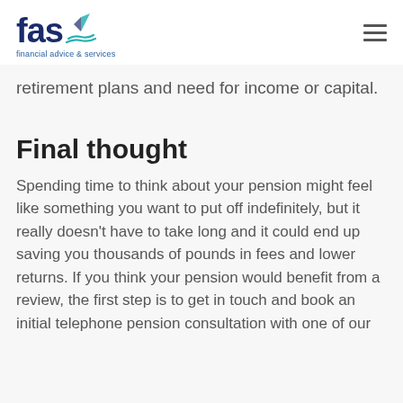fas financial advice & services
…g p …y retirement plans and need for income or capital.
Final thought
Spending time to think about your pension might feel like something you want to put off indefinitely, but it really doesn't have to take long and it could end up saving you thousands of pounds in fees and lower returns. If you think your pension would benefit from a review, the first step is to get in touch and book an initial telephone pension consultation with one of our…